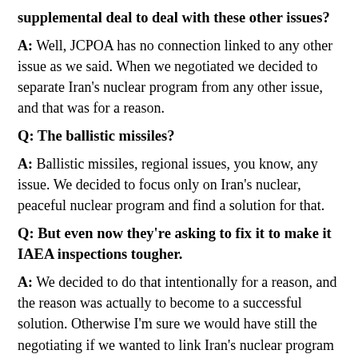supplemental deal to deal with these other issues?
A: Well, JCPOA has no connection linked to any other issue as we said. When we negotiated we decided to separate Iran's nuclear program from any other issue, and that was for a reason.
Q: The ballistic missiles?
A: Ballistic missiles, regional issues, you know, any issue. We decided to focus only on Iran's nuclear, peaceful nuclear program and find a solution for that.
Q: But even now they're asking to fix it to make it IAEA inspections tougher.
A: We decided to do that intentionally for a reason, and the reason was actually to become to a successful solution. Otherwise I'm sure we would have still the negotiating if we wanted to link Iran's nuclear program with any other issue. Now, it's quite clear JCPOA is not linked to any other issue, it cannot be re-opened, it cannot be re-negotiated, there is no supplement, there is no add-on, there is no follow-on, nothing